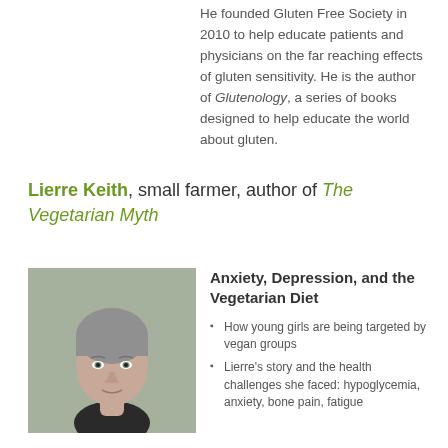He founded Gluten Free Society in 2010 to help educate patients and physicians on the far reaching effects of gluten sensitivity. He is the author of Glutenology, a series of books designed to help educate the world about gluten.
Lierre Keith, small farmer, author of The Vegetarian Myth
[Figure (photo): Headshot photo of Lierre Keith, a woman with short gray hair, looking directly at the camera with a neutral expression, against a blurred background.]
Anxiety, Depression, and the Vegetarian Diet
How young girls are being targeted by vegan groups
Lierre's story and the health challenges she faced: hypoglycemia, anxiety, bone pain, fatigue